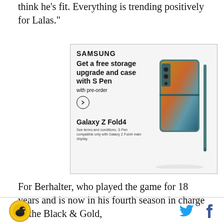think he's fit. Everything is trending positively for Lalas."
[Figure (illustration): Samsung advertisement for Galaxy Z Fold4. Shows Samsung logo, headline 'Get a free storage upgrade and case with S Pen', subtext 'with pre-order', a circular arrow button, Galaxy Z Fold4 model name, terms and conditions text, and an image of the teal Galaxy Z Fold4 phone with S Pen.]
For Berhalter, who played the game for 18 years and is now in his fourth season in charge of the Black & Gold,